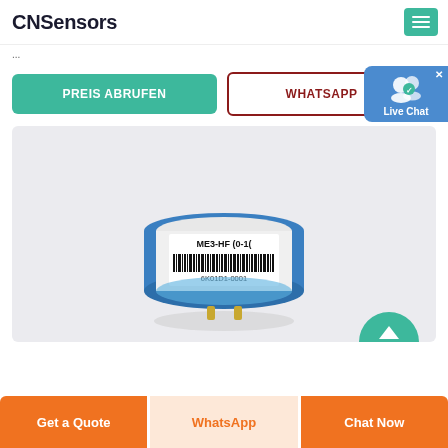CNSensors
...
PREIS ABRUFEN
WHATSAPP
Live Chat
[Figure (photo): Electrochemical gas sensor labeled ME3-HF (0-10) with barcode sticker reading 6K01D1-0001, featuring blue ring, white cylindrical body, and gold pins at bottom, on light gray background]
Get a Quote
WhatsApp
Chat Now